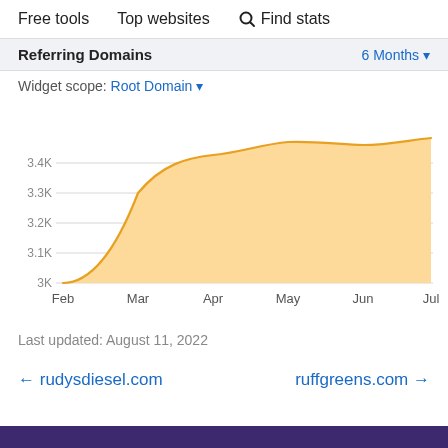Free tools   Top websites   🔍 Find stats
Referring Domains   6 Months ▼
Widget scope: Root Domain ▼
[Figure (area-chart): Referring Domains]
Last updated: August 11, 2022
← rudysdiesel.com   ruffgreens.com →